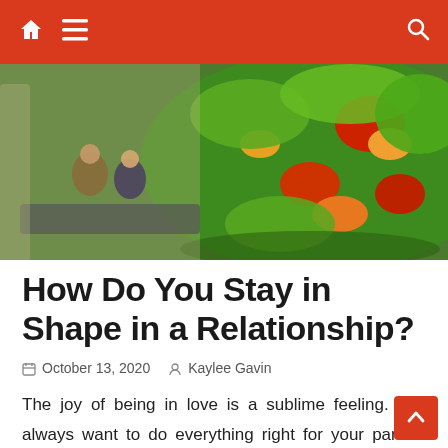Navigation bar with home icon, menu icon, and search icon
[Figure (photo): Hero image showing a couple doing yoga/stretching poses on the left side and a colorful salad bowl with tomatoes, peppers, and greens on the right side]
How Do You Stay in Shape in a Relationship?
October 13, 2020   Kaylee Gavin
The joy of being in love is a sublime feeling. You always want to do everything right for your partner and seek to protect their interest at any